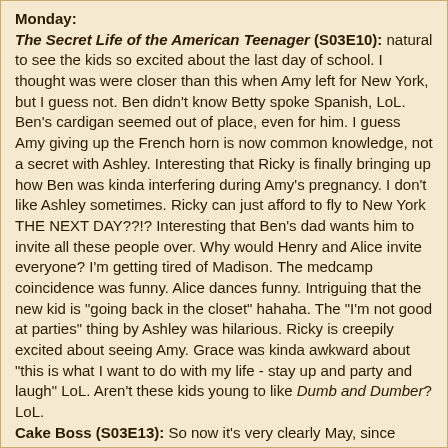Monday: The Secret Life of the American Teenager (S03E10): natural to see the kids so excited about the last day of school. I thought was were closer than this when Amy left for New York, but I guess not. Ben didn't know Betty spoke Spanish, LoL. Ben's cardigan seemed out of place, even for him. I guess Amy giving up the French horn is now common knowledge, not a secret with Ashley. Interesting that Ricky is finally bringing up how Ben was kinda interfering during Amy's pregnancy. I don't like Ashley sometimes. Ricky can just afford to fly to New York THE NEXT DAY??!? Interesting that Ben's dad wants him to invite all these people over. Why would Henry and Alice invite everyone? I'm getting tired of Madison. The medcamp coincidence was funny. Alice dances funny. Intriguing that the new kid is "going back in the closet" hahaha. The "I'm not good at parties" thing by Ashley was hilarious. Ricky is creepily excited about seeing Amy. Grace was kinda awkward about "this is what I want to do with my life - stay up and party and laugh" LoL. Aren't these kids young to like Dumb and Dumber? LoL. Cake Boss (S03E13): So now it's very clearly May, since they've got Mother's Day stuff going on. And I can certainly